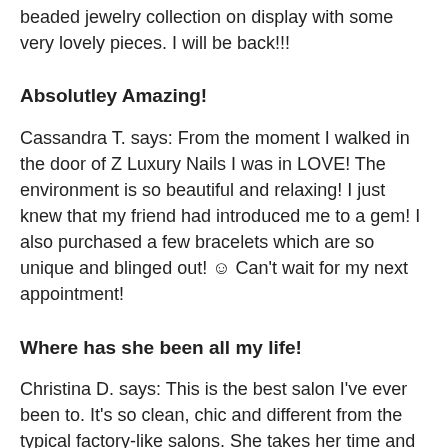beaded jewelry collection on display with some very lovely pieces. I will be back!!!
Absolutley Amazing!
Cassandra T. says: From the moment I walked in the door of Z Luxury Nails I was in LOVE! The environment is so beautiful and relaxing! I just knew that my friend had introduced me to a gem! I also purchased a few bracelets which are so unique and blinged out! ☺ Can't wait for my next appointment!
Where has she been all my life!
Christina D. says: This is the best salon I've ever been to. It's so clean, chic and different from the typical factory-like salons. She takes her time and can do whatever art you want. I brought in a picture of what I wanted and got exactly that. I already made two more appointments fo…th. Love ZLUX!